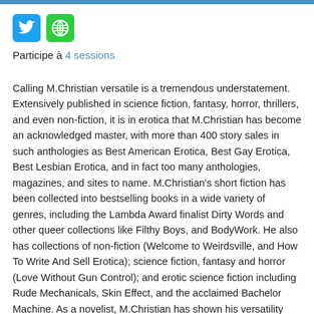[Figure (logo): Twitter bird icon (blue square) and globe/web icon (green square) side by side]
Participe à 4 sessions
Calling M.Christian versatile is a tremendous understatement. Extensively published in science fiction, fantasy, horror, thrillers, and even non-fiction, it is in erotica that M.Christian has become an acknowledged master, with more than 400 story sales in such anthologies as Best American Erotica, Best Gay Erotica, Best Lesbian Erotica, and in fact too many anthologies, magazines, and sites to name. M.Christian's short fiction has been collected into bestselling books in a wide variety of genres, including the Lambda Award finalist Dirty Words and other queer collections like Filthy Boys, and BodyWork. He also has collections of non-fiction (Welcome to Weirdsville, and How To Write And Sell Erotica); science fiction, fantasy and horror (Love Without Gun Control); and erotic science fiction including Rude Mechanicals, Skin Effect, and the acclaimed Bachelor Machine. As a novelist, M.Christian has shown his versatility with books such as the queer vamp novels Running Dry and The Very Bloody Marys; the